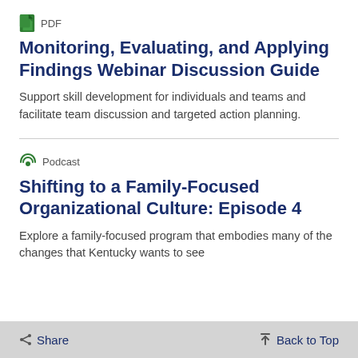PDF
Monitoring, Evaluating, and Applying Findings Webinar Discussion Guide
Support skill development for individuals and teams and facilitate team discussion and targeted action planning.
Podcast
Shifting to a Family-Focused Organizational Culture: Episode 4
Explore a family-focused program that embodies many of the changes that Kentucky wants to see in its child welfare system. This podcast. The START program demonstrates a shift
Share   Back to Top